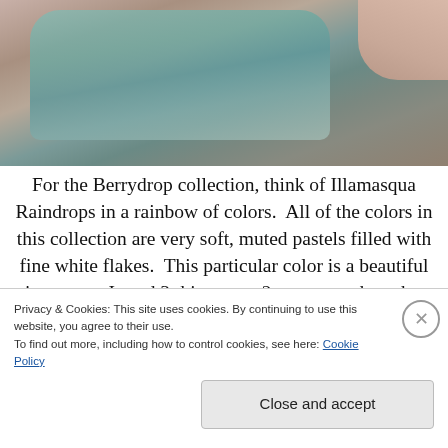[Figure (photo): Close-up photograph of what appears to be a mint green nail polish bottle cap/top, with a peach/skin-toned hand partial in the upper right corner, against a warm background.]
For the Berrydrop collection, think of Illamasqua Raindrops in a rainbow of colors.  All of the colors in this collection are very soft, muted pastels filled with fine white flakes.  This particular color is a beautiful mint green.  I used 3 thin coats- 2 coats may have been enough but there was just a hint of visible nail line.  2 thicker coats would be sufficient coverage.
Privacy & Cookies: This site uses cookies. By continuing to use this website, you agree to their use.
To find out more, including how to control cookies, see here: Cookie Policy
Close and accept